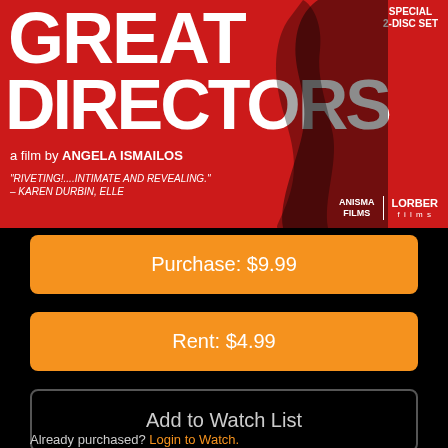[Figure (photo): Movie cover for 'Great Directors' - a film by Angela Ismailos, Special 2-Disc Set, on red background with dark silhouette. Logos: Anisma Films and Lorber Films. Quote: 'Riveting!....Intimate and Revealing.' - Karen Durbin, Elle]
Purchase: $9.99
Rent: $4.99
Add to Watch List
Already purchased? Login to Watch.